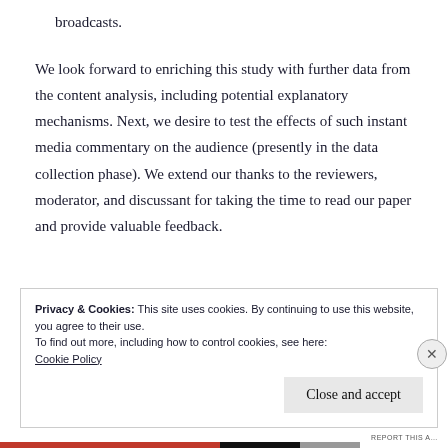broadcasts.
We look forward to enriching this study with further data from the content analysis, including potential explanatory mechanisms. Next, we desire to test the effects of such instant media commentary on the audience (presently in the data collection phase). We extend our thanks to the reviewers, moderator, and discussant for taking the time to read our paper and provide valuable feedback.
Privacy & Cookies: This site uses cookies. By continuing to use this website, you agree to their use.
To find out more, including how to control cookies, see here:
Cookie Policy
Close and accept